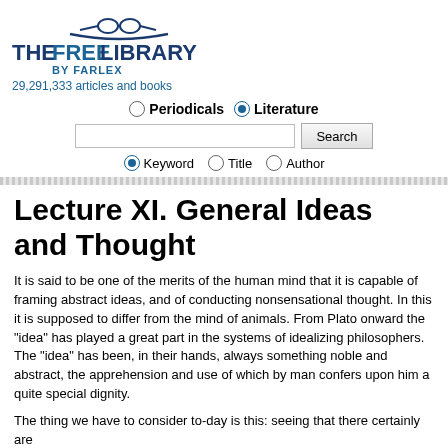[Figure (logo): The Free Library by Farlex logo with glasses icon]
29,291,333 articles and books
Periodicals  Literature (radio buttons for search type)
Search input field with Search button
Keyword  Title  Author (radio buttons for search mode)
Lecture XI. General Ideas and Thought
It is said to be one of the merits of the human mind that it is capable of framing abstract ideas, and of conducting nonsensational thought. In this it is supposed to differ from the mind of animals. From Plato onward the "idea" has played a great part in the systems of idealizing philosophers. The "idea" has been, in their hands, always something noble and abstract, the apprehension and use of which by man confers upon him a quite special dignity.
The thing we have to consider to-day is this: seeing that there certainly are